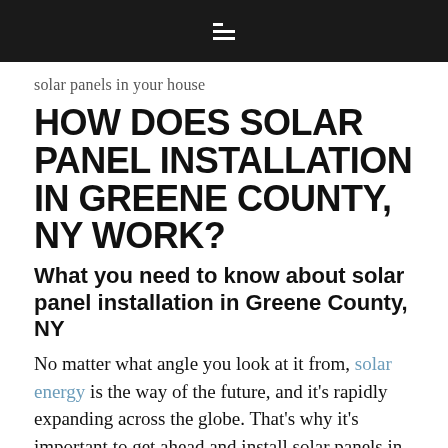☰
solar panels in your house
HOW DOES SOLAR PANEL INSTALLATION IN GREENE COUNTY, NY WORK?
What you need to know about solar panel installation in Greene County, NY
No matter what angle you look at it from, solar energy is the way of the future, and it's rapidly expanding across the globe. That's why it's important to get ahead and install solar panels in your home to reap the benefits…